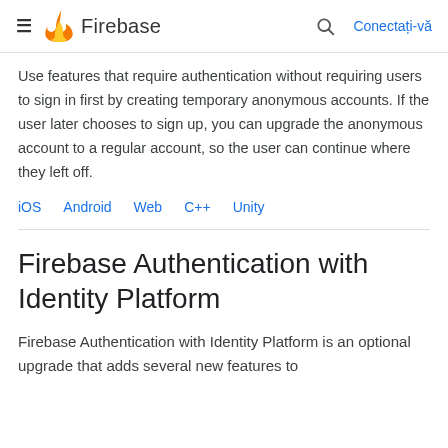Firebase
Use features that require authentication without requiring users to sign in first by creating temporary anonymous accounts. If the user later chooses to sign up, you can upgrade the anonymous account to a regular account, so the user can continue where they left off.
iOS   Android   Web   C++   Unity
Firebase Authentication with Identity Platform
Firebase Authentication with Identity Platform is an optional upgrade that adds several new features to